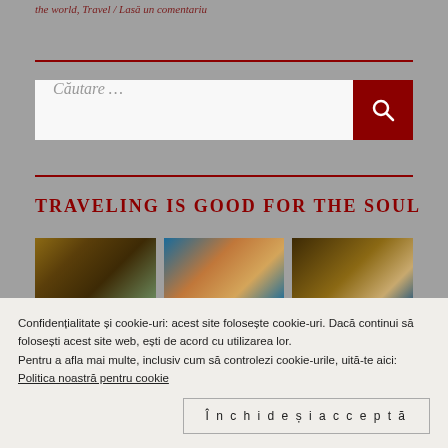the world, Travel / Lasă un comentariu
[Figure (other): Search bar with dark red button and magnifying glass icon]
TRAVELING IS GOOD FOR THE SOUL
[Figure (photo): Three travel photos in a row: castle/fortress, coastal town, rock arch]
Confidențialitate și cookie-uri: acest site folosește cookie-uri. Dacă continui să folosești acest site web, ești de acord cu utilizarea lor.
Pentru a afla mai multe, inclusiv cum să controlezi cookie-urile, uită-te aici: Politica noastră pentru cookie
Închide și acceptă